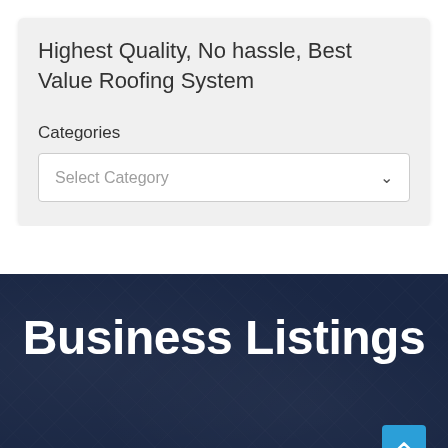Highest Quality, No hassle, Best Value Roofing System
Categories
Select Category
Business Listings
Bitcoin ATM St. Petersburg – Coinhub